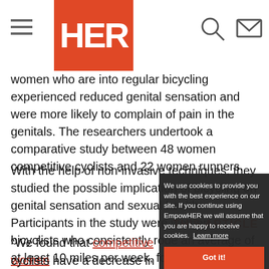HER (EmpowHER logo with hamburger menu, search, and mail icons)
women who are into regular bicycling experienced reduced genital sensation and were more likely to complain of pain in the genitals. The researchers undertook a comparative study between 48 women competitive cyclists and 22 women runners.
With the help of non-invasive techniques, they studied the possible implication of bicycling on genital sensation and sexual health. Participants in the study were women bicyclists who consistently rode an average of at least 10 miles per week, four weeks per month. Women who ran at least one mile daily or five miles weekly were chosen as a control group because they represent an active group of women who were not placing additional pressure on the perineal region.
“We found that competitive women cyclists have a decrease in genital
We use cookies to provide you with the best experience on our site. If you continue using EmpowHER we will assume that you are happy to receive cookies. Learn more
Got it!
THIS ARTICLE